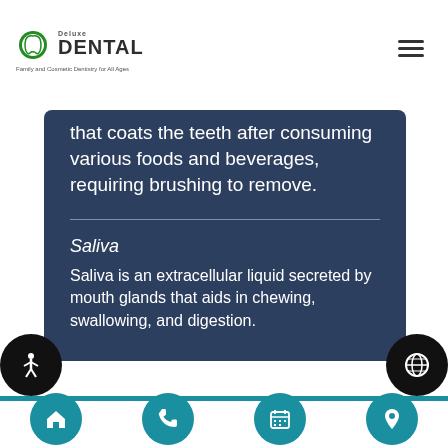Deluxe DENTAL — Family and Cosmetic Dentistry for All Ages
that coats the teeth after consuming various foods and beverages, requiring brushing to remove.
Saliva
Saliva is an extracellular liquid secreted by mouth glands that aids in chewing, swallowing, and digestion.
[Figure (other): Website footer navigation with accessibility icon, globe/language icon, teal progress bar, and four teal circular nav buttons (home, phone, calendar, location)]